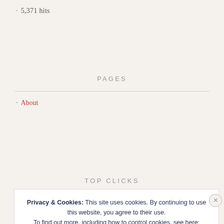5,371 hits
PAGES
About
TOP CLICKS
Privacy & Cookies: This site uses cookies. By continuing to use this website, you agree to their use.
To find out more, including how to control cookies, see here: Cookie Policy
Close and accept